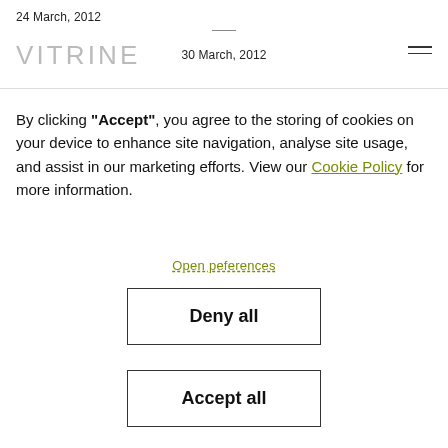24 March, 2012  VITRINE  30 March, 2012
By clicking "Accept", you agree to the storing of cookies on your device to enhance site navigation, analyse site usage, and assist in our marketing efforts. View our Cookie Policy for more information.
Open peferences
Deny all
Accept all